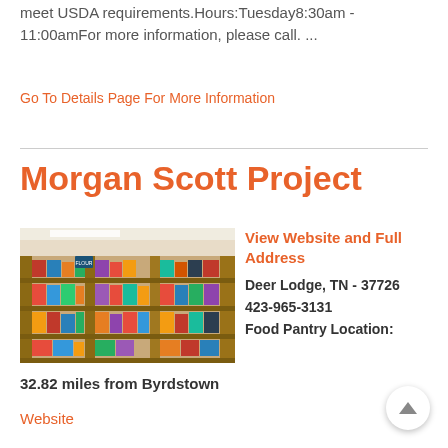meet USDA requirements.Hours:Tuesday8:30am - 11:00amFor more information, please call. ...
Go To Details Page For More Information
Morgan Scott Project
[Figure (photo): Interior photo of a food pantry with wooden shelves stocked with canned goods and packaged food items.]
View Website and Full Address
Deer Lodge, TN - 37726
423-965-3131
Food Pantry Location:
32.82 miles from Byrdstown
Website